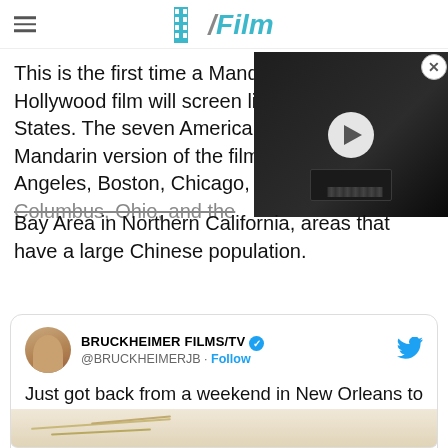/Film
This is the first time a Mandarin Hollywood film will screen like United States. The seven American Mandarin version of the film Los Angeles, Boston, Chicago, Columbus, Ohio, and the Bay Area in Northern California, areas that have a large Chinese population.
[Figure (screenshot): Dark video thumbnail with play button overlay and close button in top right]
Just got back from a weekend in New Orleans to see my old friend @TomCruise and discuss a little Top Gun 2.
[Figure (photo): Bottom strip showing partial image, appears to be gold/beige toned]